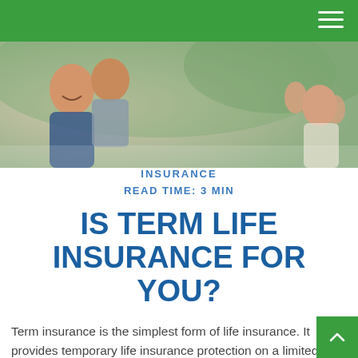[Figure (photo): Happy people outdoors, smiling and laughing, blurred green background]
INSURANCE
READ TIME: 3 MIN
IS TERM LIFE INSURANCE FOR YOU?
Term insurance is the simplest form of life insurance. It provides temporary life insurance protection on a limited budget. Here's how it works: